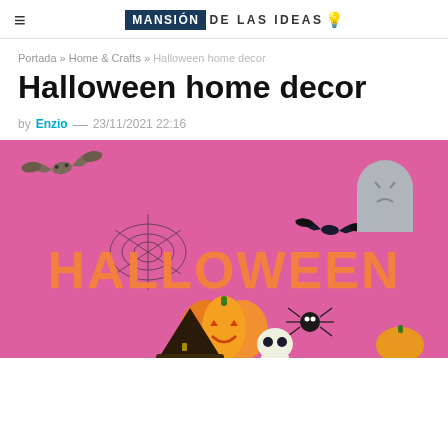MANSIÓN DE LAS IDEAS 💡
Portada » Home & Crafts » Halloween home decor
Halloween home decor
by Enzio — 23/11/2021 22:16
[Figure (illustration): Halloween themed illustration on pink background featuring the word HALLOWEEN in orange dripping letters, jack-o-lanterns, a bat, spider web, spider, and a tombstone]